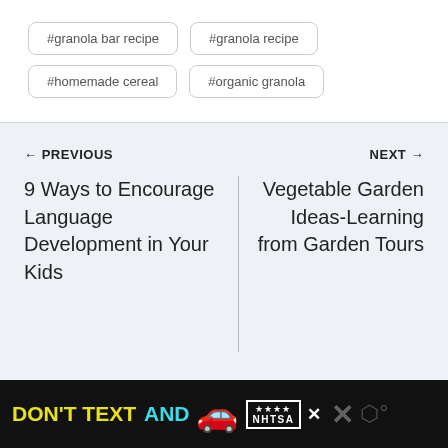#granola bar recipe
#granola recipe
#homemade cereal
#organic granola
← PREVIOUS
NEXT →
9 Ways to Encourage Language Development in Your Kids
Vegetable Garden Ideas-Learning from Garden Tours
[Figure (infographic): DON'T TEXT AND [car emoji] ad banner with NHTSA logo and close button]